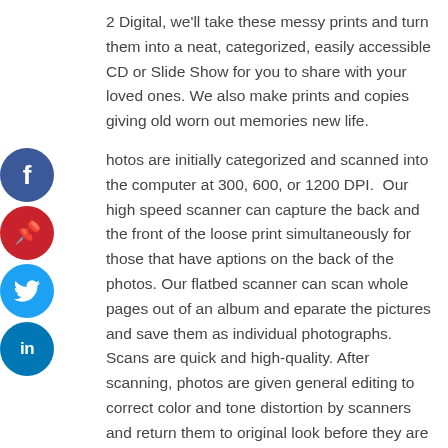2 Digital, we'll take these messy prints and turn them into a neat, categorized, easily accessible CD or Slide Show for you to share with your loved ones. We also make prints and copies giving old worn out memories new life.
[Figure (other): Social media share buttons: Facebook (blue), Pinterest (red), Twitter (light blue), LinkedIn (dark blue)]
Photos are initially categorized and scanned into the computer at 300, 600, or 1200 DPI. Our high speed scanner can capture the back and the front of the loose print simultaneously for those that have captions on the back of the photos. Our flatbed scanner can scan whole pages out of an album and separate the pictures and save them as individual photographs. Scans are quick and high-quality. After scanning, photos are given general editing to correct color and tone distortion by scanners and return them to original look before they are burned to a CD or printed. Distance orders are then boxed and returned to you.